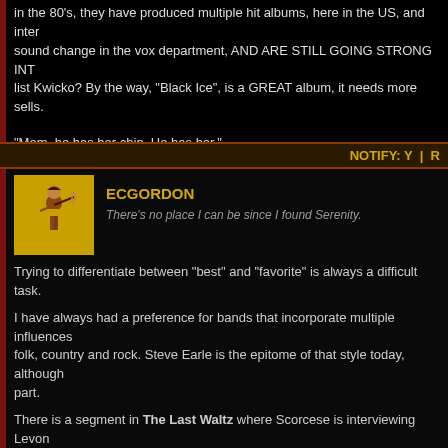in the 80's, they have produced multiple hit albums, here in the US, and internationally. Despite a sound change in the vox department, AND ARE STILL GOING STRONG INT... list Kwicko? By the way, "Black Ice", is a GREAT album, it needs more sells.
"Mom, he has her chip. He has her."
John Connor,"Born To Run", TSCC EP 2x22
NOTIFY: Y  |  R
[Figure (photo): User avatar showing a figure with bow and arrow on yellow background]
ECGORDON
There's no place I can be since I found Serenity.
Trying to differentiate between "best" and "favorite" is always a difficult task.
I have always had a preference for bands that incorporate multiple influences including folk, country and rock. Steve Earle is the epitome of that style today, although... part.
There is a segment in The Last Waltz where Scorcese is interviewing Levon... Memphis.
LEVON: That's sort of the middle of the country there. Bluegrass or country m... and it mixes with rhythm, and it dances, then you have a combination of all th... bluegrass, blues music, show music.